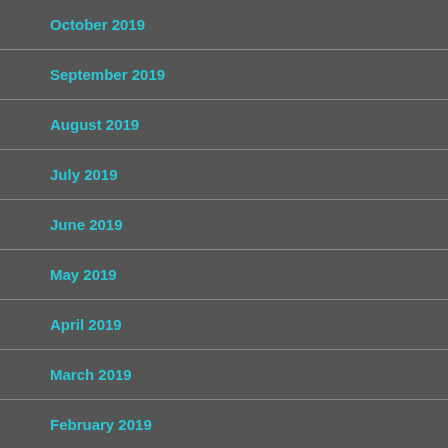October 2019
September 2019
August 2019
July 2019
June 2019
May 2019
April 2019
March 2019
February 2019